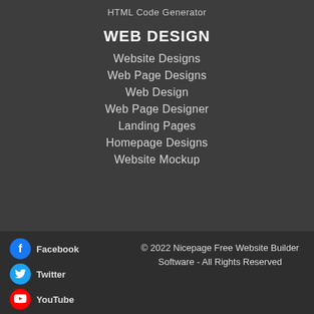HTML Code Generator
WEB DESIGN
Website Designs
Web Page Designs
Web Design
Web Page Designer
Landing Pages
Homepage Designs
Website Mockup
Facebook
Twitter
YouTube
© 2022 Nicepage Free Website Builder Software - All Rights Reserved